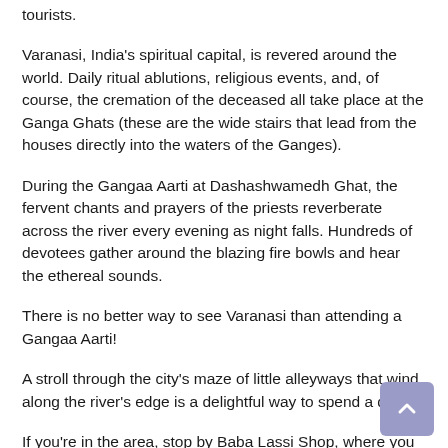tourists.
Varanasi, India's spiritual capital, is revered around the world. Daily ritual ablutions, religious events, and, of course, the cremation of the deceased all take place at the Ganga Ghats (these are the wide stairs that lead from the houses directly into the waters of the Ganges).
During the Gangaa Aarti at Dashashwamedh Ghat, the fervent chants and prayers of the priests reverberate across the river every evening as night falls. Hundreds of devotees gather around the blazing fire bowls and hear the ethereal sounds.
There is no better way to see Varanasi than attending a Gangaa Aarti!
A stroll through the city's maze of little alleyways that wind along the river's edge is a delightful way to spend a day.
If you're in the area, stop by Baba Lassi Shop, where you can get over 40 kinds of lassis for less than 50 cents each.
Near the Burning Ghats, there's a great Blue Lassi shop.